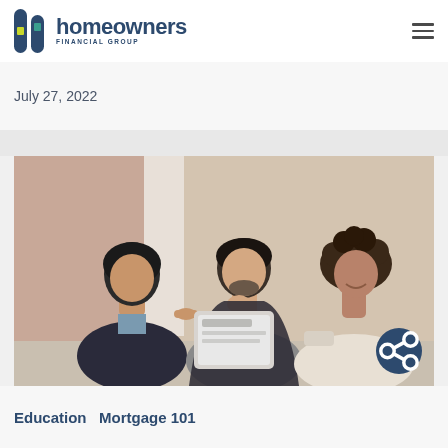homeowners FINANCIAL GROUP
July 27, 2022
[Figure (photo): Three people (a woman in dark blazer, a man in gray sweater holding a tablet, and a woman with curly hair) looking at a tablet device together, smiling]
Education   Mortgage 101